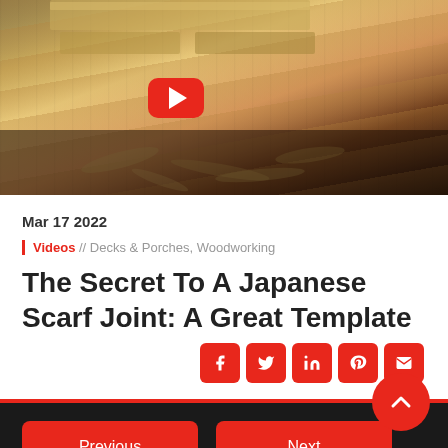[Figure (screenshot): Video thumbnail showing woodworking/Japanese scarf joint construction with wood shavings, with a YouTube play button overlay]
Mar 17 2022
Videos // Decks & Porches, Woodworking
The Secret To A Japanese Scarf Joint: A Great Template
Copyright © 2022 Pro Trade Craft | Privacy | Terms